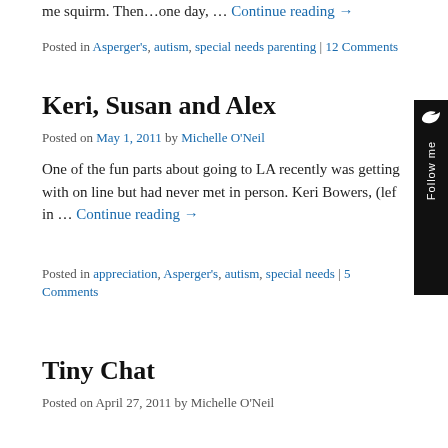me squirm. Then…one day, … Continue reading →
Posted in Asperger's, autism, special needs parenting | 12 Comments
Keri, Susan and Alex
Posted on May 1, 2011 by Michelle O'Neil
One of the fun parts about going to LA recently was getting with on line but had never met in person. Keri Bowers, (lef in … Continue reading →
Posted in appreciation, Asperger's, autism, special needs | 5 Comments
Tiny Chat
Posted on April 27, 2011 by Michelle O'Neil